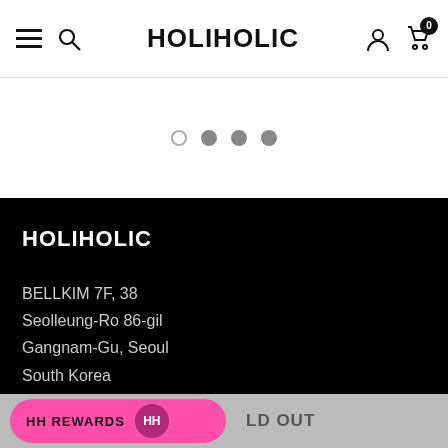HOLIHOLIC
[Figure (other): Carousel pagination dots: one open circle and three filled gray circles]
HOLIHOLIC
BELLKIM 7F, 38
Seolleung-Ro 86-gil
Gangnam-Gu, Seoul
South Korea
customer@holiholic.com
HH REWARDS | SOLD OUT